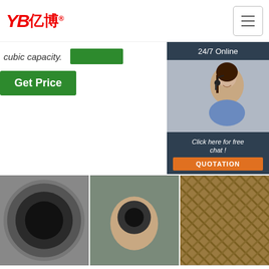YB亿博® — navigation header with hamburger menu
cubic capacity.
[Figure (photo): Green button placeholder (no text)]
[Figure (photo): Customer service representative with headset, 24/7 Online chat widget with QUOTATION button]
Get Price
[Figure (photo): Close-up photo of a black silicone/rubber hose end (braided, round opening)]
[Figure (photo): Hand holding a flexible hose end, showing the inner bore]
[Figure (photo): Braided/woven hose texture close-up]
HPS Performance Manufacturer Of Silicone
Flexible, Heatproof & Reinforced Radiator
Ford Radiator Hoses & Clamps — CARiD.Com